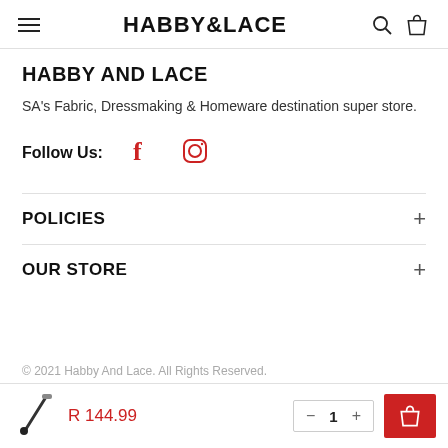HABBY&LACE
HABBY AND LACE
SA's Fabric, Dressmaking & Homeware destination super store.
Follow Us:
[Figure (illustration): Facebook and Instagram social media icons in red]
POLICIES
OUR STORE
© 2021 Habby And Lace. All Rights Reserved.
[Figure (illustration): Bottom bar with product image of a seam ripper, price R 144.99, quantity selector showing 1, and red cart button]